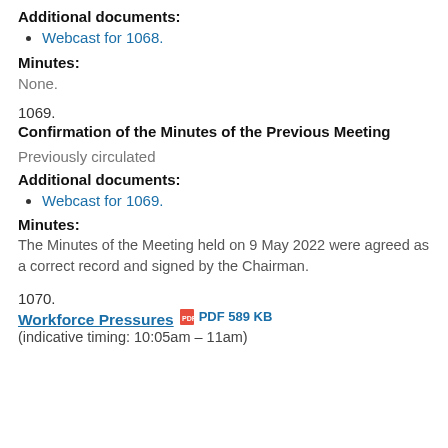Additional documents:
Webcast for 1068.
Minutes:
None.
1069.
Confirmation of the Minutes of the Previous Meeting
Previously circulated
Additional documents:
Webcast for 1069.
Minutes:
The Minutes of the Meeting held on 9 May 2022 were agreed as a correct record and signed by the Chairman.
1070.
Workforce Pressures  PDF 589 KB
(indicative timing: 10:05am – 11am)